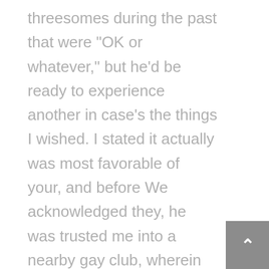threesomes during the past that were “OK or whatever,” but he’d be ready to experience another in case’s the things I wished. I stated it actually was most favorable of your, and before We acknowledged they, he was trusted me into a nearby gay club, wherein the man recommended I “find a lady for a bunch intercourse,” even though 98 % of individuals during the club had been homosexual guys. It absolutely was as he tried to grind with me at night to a Lana Del Rey techno remix that At long last created our escape.